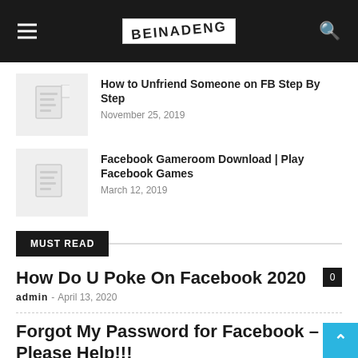BEINADENG — navigation header with hamburger menu and search icon
How to Unfriend Someone on FB Step By Step
November 25, 2019
Facebook Gameroom Download | Play Facebook Games
March 12, 2019
MUST READ
How Do U Poke On Facebook 2020
admin – April 13, 2020
Forgot My Password for Facebook – Please Help!!!
admin – April 12, 2019